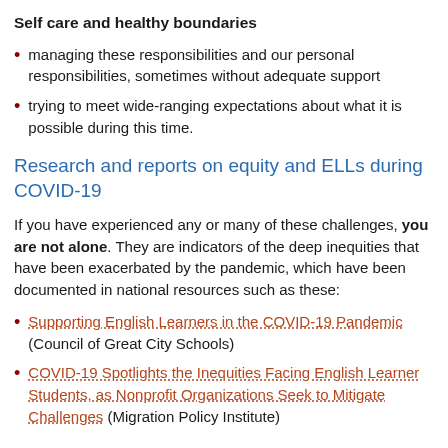Self care and healthy boundaries
managing these responsibilities and our personal responsibilities, sometimes without adequate support
trying to meet wide-ranging expectations about what it is possible during this time.
Research and reports on equity and ELLs during COVID-19
If you have experienced any or many of these challenges, you are not alone. They are indicators of the deep inequities that have been exacerbated by the pandemic, which have been documented in national resources such as these:
Supporting English Learners in the COVID-19 Pandemic (Council of Great City Schools)
COVID-19 Spotlights the Inequities Facing English Learner Students, as Nonprofit Organizations Seek to Mitigate Challenges (Migration Policy Institute)